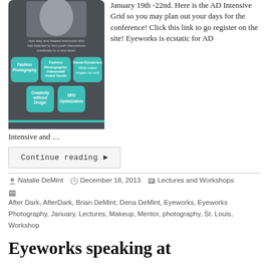[Figure (infographic): Infographic showing photography workshop topics in teal rounded boxes: Fashion Photography, Fashion Photography Advanced/Avant Garde, Visual Dynamics: What makes images not suck, Creativity without Drugs!, SEO Optimization, on dark grey background with a person's photo at top.]
January 19th -22nd. Here is the AD Intensive Grid so you may plan out your days for the conference!  Click this link to go register on the site!  Eyeworks is ecstatic for AD Intensive and …
Continue reading ▶
Natalie DeMint   December 18, 2013   Lectures and Workshops
After Dark, AfterDark, Brian DeMint, Dena DeMint, Eyeworks, Eyeworks Photography, January, Lectures, Makeup, Mentor, photography, St. Louis, Workshop
Eyeworks speaking at Imaging USA!